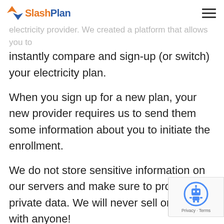SlashPlan
It's important to remember that SlashPlan is not your electricity provider. We created a platform that allows you to instantly compare and sign-up (or switch) your electricity plan.
When you sign up for a new plan, your new provider requires us to send them some information about you to initiate the enrollment.
We do not store sensitive information on our servers and make sure to protect your private data. We will never sell or share it with anyone!
Although most people prefer a streamlined online enrollment, if you feel uncomfortable submitting your information online you can also enroll over the phone.
[Figure (logo): reCAPTCHA badge with robot icon, Privacy and Terms links]